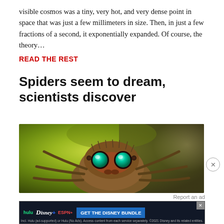visible cosmos was a tiny, very hot, and very dense point in space that was just a few millimeters in size. Then, in just a few fractions of a second, it exponentially expanded. Of course, the theory…
READ THE REST
Spiders seem to dream, scientists discover
[Figure (photo): Close-up macro photo of a jumping spider with large green eyes, brown furry body, and multiple legs, against a green background.]
Report an ad
[Figure (screenshot): Disney Bundle advertisement banner with Hulu, Disney+, and ESPN+ logos and 'GET THE DISNEY BUNDLE' call to action button. Subtext: Incl. Hulu (ad-supported) or Hulu (No Ads). Access content from each service separately. ©2021 Disney and its related entities.]